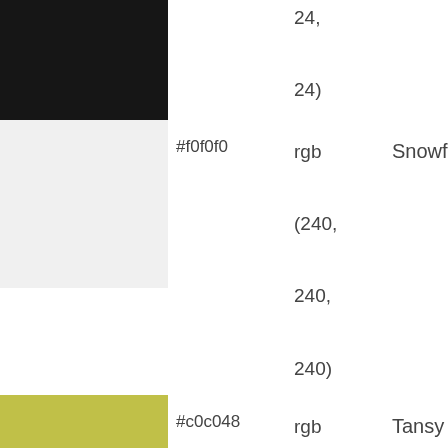| Color | Hex | RGB | Name |
| --- | --- | --- | --- |
| [black swatch top partial] |  | 24,
24) |  |
| [#f0f0f0 swatch] | #f0f0f0 | rgb
(240,
240,
240) | Snowflake |
| [#c0c048 swatch] | #c0c048 | rgb
(192,
192,
72) | Tansy |
| [#c03048 swatch] | #c03048 | rgb
(192,
48, | Bleeding
Heart |